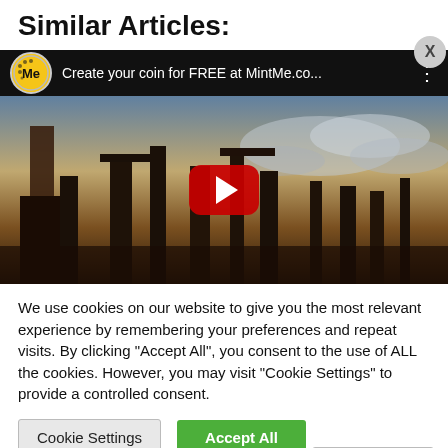Similar Articles:
[Figure (screenshot): YouTube ad bar with MintMe logo and text 'Create your coin for FREE at MintMe.co...' on black background with close button]
[Figure (photo): Video thumbnail showing ancient ruins silhouetted against dramatic sky, with YouTube play button overlay]
We use cookies on our website to give you the most relevant experience by remembering your preferences and repeat visits. By clicking “Accept All”, you consent to the use of ALL the cookies. However, you may visit "Cookie Settings" to provide a controlled consent.
Cookie Settings   Accept All   English